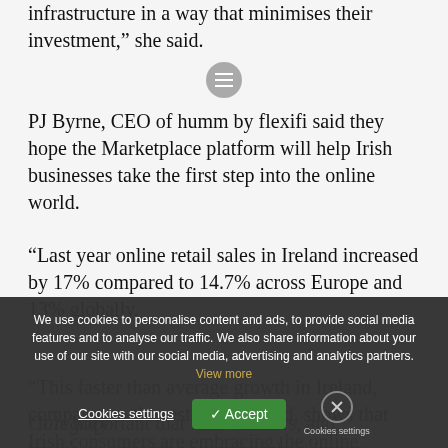infrastructure in a way that minimises their investment,” she said.
PJ Byrne, CEO of humm by flexifi said they hope the Marketplace platform will help Irish businesses take the first step into the online world.
“Last year online retail sales in Ireland increased by 17% compared to 14.7% across Europe and 13% globally.
“This faster than average growth in Ireland, compared to the rest of the world, shows that Irish consumers are embracing the online shopping experience.
“It is important that Irish retailers, and businesses, secure as much of their income online,” he said.
Category
We use cookies to personalise content and ads, to provide social media features and to analyse our traffic. We also share information about your use of our site with our social media, advertising and analytics partners. View more
Cookies settings
✓ Accept
Cookies settings